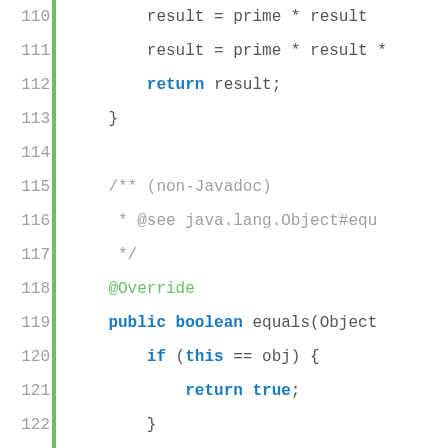[Figure (screenshot): Java source code editor view showing lines 110-132, featuring methods with keywords like return, public boolean equals, if statements with instanceof, and StudentOverrideAttribute references. A green vertical bar marks the left side of the code area.]